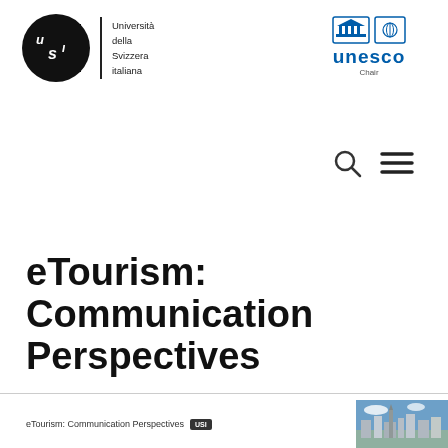[Figure (logo): USI Università della Svizzera italiana logo with black circle and vertical bar]
[Figure (logo): UNESCO Chair logo with blue UNESCO text and institutional icons]
[Figure (other): Search magnifying glass icon and hamburger menu icon]
eTourism: Communication Perspectives
eTourism: Communication Perspectives USI